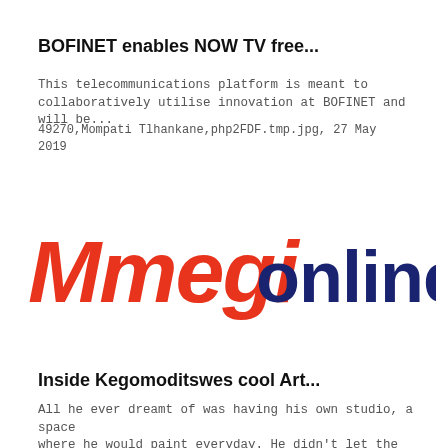BOFINET enables NOW TV free...
This telecommunications platform is meant to collaboratively utilise innovation at BOFINET and will be...
49270,Mompati Tlhankane,php2FDF.tmp.jpg, 27 May 2019
[Figure (logo): Mmegi Online logo — 'Mmegi' in red bold italic, 'online' in dark navy blue, stylized typography]
Inside Kegomoditswes cool Art...
All he ever dreamt of was having his own studio, a space where he would paint everyday. He didn't let the beautifu